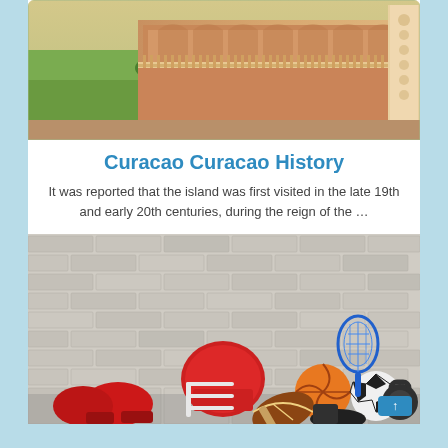[Figure (photo): Photo of a historic Indian palace or fort building with arched colonnades, ornate railing, stone facade, with lush green landscape visible in background]
Curacao Curacao History
It was reported that the island was first visited in the late 19th and early 20th centuries, during the reign of the …
[Figure (photo): Photo of various sports equipment including football helmet, boxing gloves, basketball, soccer ball, tennis racket, football, baseball glove, bat, and kettlebell arranged in front of a white brick wall]